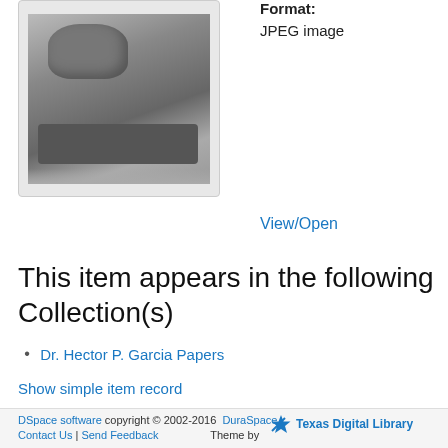[Figure (photo): Black and white photograph of a stone carving, appearing to be a Mesoamerican sculptural relief with a serpent or dragon head motif.]
Format:
JPEG image
View/Open
This item appears in the following Collection(s)
Dr. Hector P. Garcia Papers
Show simple item record
DSpace software copyright © 2002-2016  DuraSpace  Contact Us | Send Feedback  Theme by  Texas Digital Library